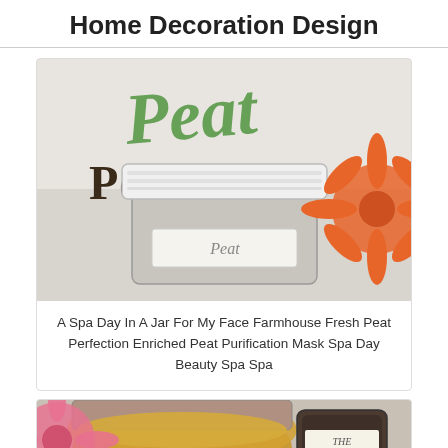Home Decoration Design
[Figure (photo): A glass jar with white lid labeled 'Peat' with cursive green 'Peat Perfection' text overlay and orange flower in background]
A Spa Day In A Jar For My Face Farmhouse Fresh Peat Perfection Enriched Peat Purification Mask Spa Day Beauty Spa Spa
[Figure (photo): Close-up of an open jar with golden/honey colored contents and a pink flower, with a tin lid visible]